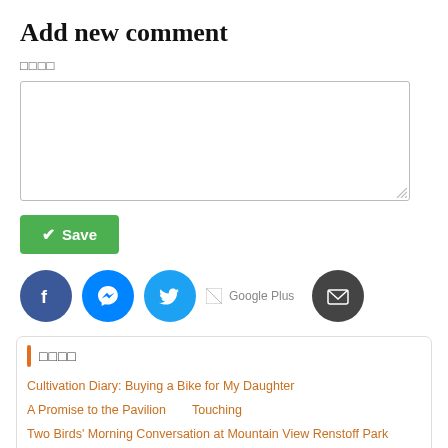Add new comment
□□□□
[Figure (screenshot): Empty textarea input box for comment entry]
[Figure (screenshot): Green Save button with checkmark icon]
[Figure (screenshot): Social sharing icons row: Facebook, Messenger, Twitter, Google Plus, Email]
□□□□
Cultivation Diary: Buying a Bike for My Daughter
A Promise to the Pavilion　Touching
Two Birds' Morning Conversation at Mountain View Renstoff Park
Lesson of a Japanese Popular Legend: Eliminate the Attachment to S
Cultivation Experience: Gathering Today
Following the Path of Master Disseminating the Fa in Mainland Chin
My Experience Learning to Recite Zhuan Falun